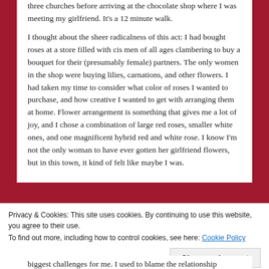three churches before arriving at the chocolate shop where I was meeting my girlfriend. It's a 12 minute walk.

I thought about the sheer radicalness of this act: I had bought roses at a store filled with cis men of all ages clambering to buy a bouquet for their (presumably female) partners. The only women in the shop were buying lilies, carnations, and other flowers. I had taken my time to consider what color of roses I wanted to purchase, and how creative I wanted to get with arranging them at home. Flower arrangement is something that gives me a lot of joy, and I chose a combination of large red roses, smaller white ones, and one magnificent hybrid red and white rose. I know I'm not the only woman to have ever gotten her girlfriend flowers, but in this town, it kind of felt like maybe I was.
Privacy & Cookies: This site uses cookies. By continuing to use this website, you agree to their use.
To find out more, including how to control cookies, see here: Cookie Policy
Close and accept
biggest challenges for me. I used to blame the relationship